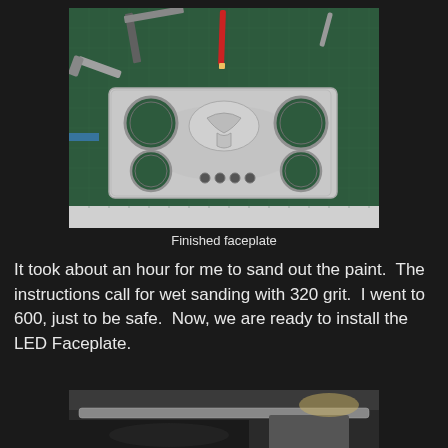[Figure (photo): A metal instrument cluster faceplate with multiple circular gauge openings, sanded and finished, placed on a green cutting mat with tools around it including a red-handled tool and metal spatulas.]
Finished faceplate
It took about an hour for me to sand out the paint.  The instructions call for wet sanding with 320 grit.  I went to 600, just to be safe.  Now, we are ready to install the LED Faceplate.
[Figure (photo): Partial view of a car interior showing the dashboard area with trim pieces, taken from outside the vehicle.]